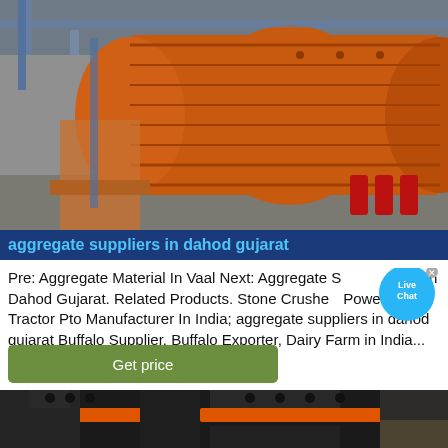[Figure (photo): Industrial machinery - large orange cylindrical drum/ball mill in a warehouse or factory setting with blue steel framework]
aggregate suppliers in dahod gujarat
Pre: Aggregate Material In Vaal Next: Aggregate Suppliers In Dahod Gujarat. Related Products. Stone Crusher Powered By Tractor Pto Manufacturer In India; aggregate suppliers in dahod gujarat Buffalo Supplier, Buffalo Exporter, Dairy Farm in India...
[Figure (other): Live Chat bubble icon - blue speech bubble with white text 'Live Chat' and an X close button]
[Figure (other): Get price button - green rounded rectangle button with white text 'Get price']
[Figure (photo): Industrial machinery - close-up of black and orange rotating mechanical equipment, likely a stone crusher or grinder]